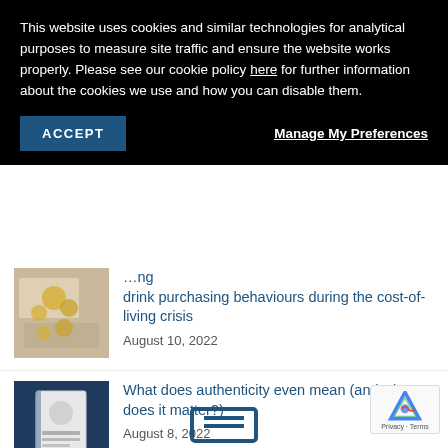This website uses cookies and similar technologies for analytical purposes to measure site traffic and ensure the website works properly. Please see our cookie policy here for further information about the cookies we use and how you can disable them.
ACCEPT
Manage My Preferences
drink purchasing behaviours during the cost-of-living crisis
August 10, 2022
What does authenticity even mean (and why does it matter?)
August 8, 2022